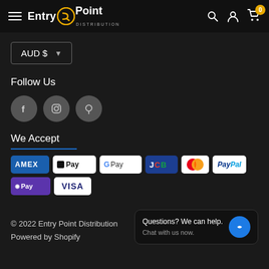Entry Point Distribution — navigation header with logo, search, account, and cart icons
[Figure (screenshot): AUD $ currency selector dropdown]
Follow Us
[Figure (infographic): Social media icons: Facebook, Instagram, Pinterest]
We Accept
[Figure (infographic): Payment method badges: Amex, Apple Pay, Google Pay, JCB, Mastercard, PayPal, Shop Pay, Visa]
© 2022 Entry Point Distribution
Powered by Shopify
Questions? We can help. Chat with us now.